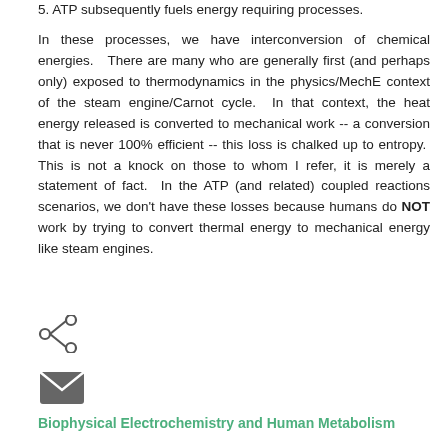5. ATP subsequently fuels energy requiring processes.
In these processes, we have interconversion of chemical energies.  There are many who are generally first (and perhaps only) exposed to thermodynamics in the physics/MechE context of the steam engine/Carnot cycle.  In that context, the heat energy released is converted to mechanical work -- a conversion that is never 100% efficient -- this loss is chalked up to entropy.  This is not a knock on those to whom I refer, it is merely a statement of fact.  In the ATP (and related) coupled reactions scenarios, we don't have these losses because humans do NOT work by trying to convert thermal energy to mechanical energy like steam engines.
[Figure (other): Share icon (less-than style arrow)]
[Figure (other): Email/envelope icon]
Biophysical Electrochemistry and Human Metabolism